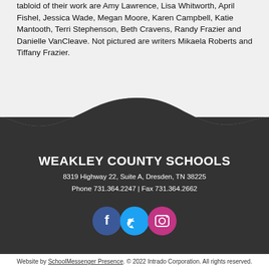tabloid of their work are Amy Lawrence, Lisa Whitworth, April Fishel, Jessica Wade, Megan Moore, Karen Campbell, Katie Mantooth, Terri Stephenson, Beth Cravens, Randy Frazier and Danielle VanCleave. Not pictured are writers Mikaela Roberts and Tiffany Frazier.
[Figure (illustration): Decorative dark wave shape transitioning from light gray background to dark gray footer section]
WEAKLEY COUNTY SCHOOLS
8319 Highway 22, Suite A, Dresden, TN 38225
Phone 731.364.2247 | Fax 731.364.2662
[Figure (illustration): Social media icons: Facebook (blue circle), Twitter (light blue circle), Instagram (magenta circle)]
Website by SchoolMessenger Presence. © 2022 Intrado Corporation. All rights reserved.